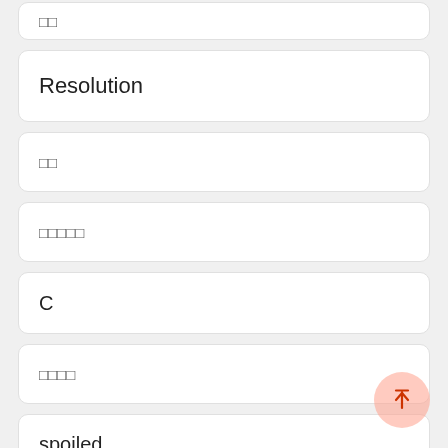□□
Resolution
□□
□□□□□
C
□□□□
spoiled